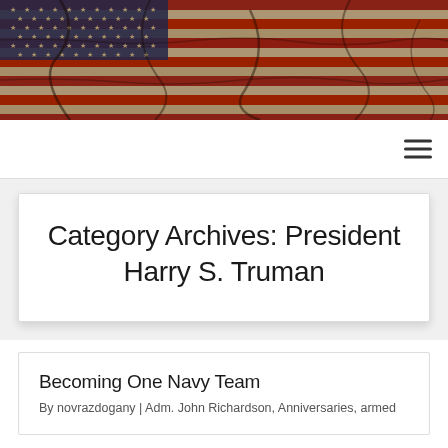[Figure (illustration): Distressed/aged American flag banner image with red, white, and blue colors and visible star field on the left side]
[Figure (other): Hamburger menu icon (three horizontal lines) on the right side of the navigation bar]
Category Archives: President Harry S. Truman
Becoming One Navy Team
By novrazdogany | Adm. John Richardson, Anniversaries, armed